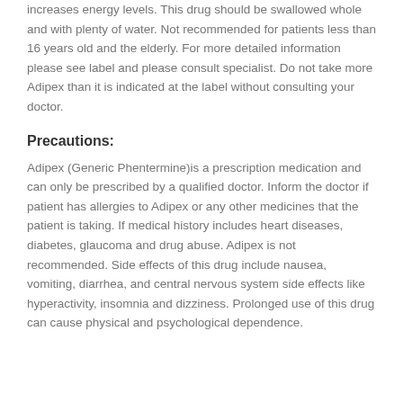increases energy levels. This drug should be swallowed whole and with plenty of water. Not recommended for patients less than 16 years old and the elderly. For more detailed information please see label and please consult specialist. Do not take more Adipex than it is indicated at the label without consulting your doctor.
Precautions:
Adipex (Generic Phentermine)is a prescription medication and can only be prescribed by a qualified doctor. Inform the doctor if patient has allergies to Adipex or any other medicines that the patient is taking. If medical history includes heart diseases, diabetes, glaucoma and drug abuse. Adipex is not recommended. Side effects of this drug include nausea, vomiting, diarrhea, and central nervous system side effects like hyperactivity, insomnia and dizziness. Prolonged use of this drug can cause physical and psychological dependence.